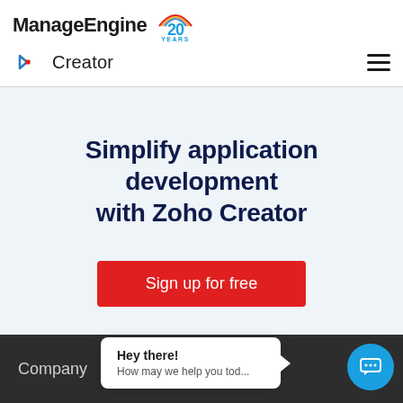ManageEngine 20 YEARS
Creator
Simplify application development with Zoho Creator
Sign up for free
Company
Hey there! How may we help you tod...